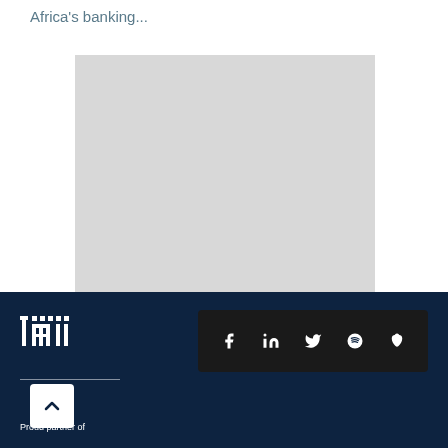Africa's banking...
[Figure (other): Gray placeholder image box]
TMI logo, Proud partner of, Social media icons (Facebook, LinkedIn, Twitter, Spotify, Apple)